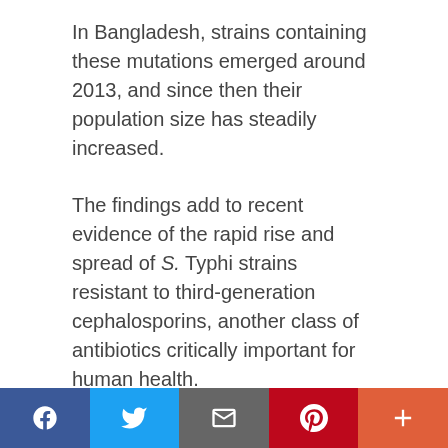In Bangladesh, strains containing these mutations emerged around 2013, and since then their population size has steadily increased.
The findings add to recent evidence of the rapid rise and spread of S. Typhi strains resistant to third-generation cephalosporins, another class of antibiotics critically important for human health.
The authors acknowledge some limitations to their study.
There remains an underrepresentation of S. Typhi sequences from several regions, particularly many
Facebook | Twitter | Email | Pinterest | More